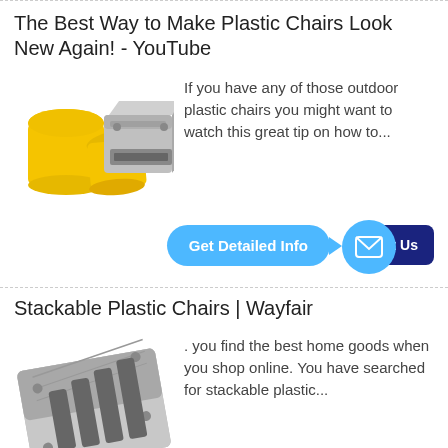The Best Way to Make Plastic Chairs Look New Again! - YouTube
[Figure (photo): Yellow plastic buckets and a grey plastic injection mold block]
If you have any of those outdoor plastic chairs you might want to watch this great tip on how to...
[Figure (other): Blue 'Get Detailed Info' button with arrow and blue circle email icon, overlapping dark navy 'Contact Us' button]
Stackable Plastic Chairs | Wayfair
[Figure (photo): Grey plastic chair injection mold tool]
. you find the best home goods when you shop online. You have searched for stackable plastic...
[Figure (other): Dark navy 'Contact Us' button]